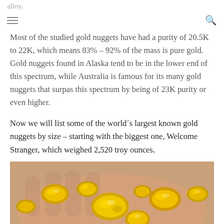alloy.
≡   🔍
Most of the studied gold nuggets have had a purity of 20.5K to 22K, which means 83% – 92% of the mass is pure gold. Gold nuggets found in Alaska tend to be in the lower end of this spectrum, while Australia is famous for its many gold nuggets that surpas this spectrum by being of 23K purity or even higher.
Now we will list some of the world´s largest known gold nuggets by size – starting with the biggest one, Welcome Stranger, which weighed 2,520 troy ounces.
[Figure (photo): A hand holding multiple shiny gold nuggets of various sizes against a blurred background.]